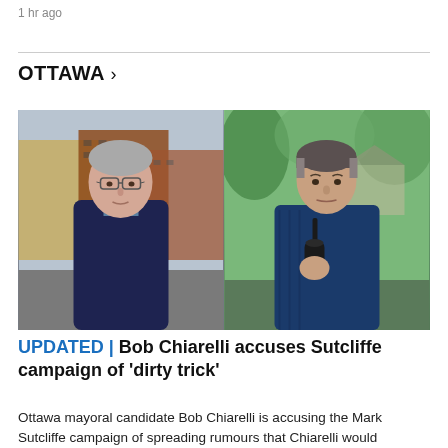1 hr ago
OTTAWA >
[Figure (photo): Split composite photo: on the left, an older man with grey hair and glasses wearing a dark navy sweater, standing on a city street with brick buildings in the background; on the right, a younger man in a dark blue button-up shirt speaking into a microphone outdoors with green trees and foliage behind him.]
UPDATED | Bob Chiarelli accuses Sutcliffe campaign of 'dirty trick'
Ottawa mayoral candidate Bob Chiarelli is accusing the Mark Sutcliffe campaign of spreading rumours that Chiarelli would